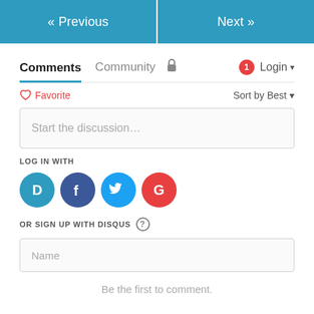[Figure (screenshot): Navigation bar with « Previous and Next » buttons in blue]
Comments  Community  🔒  Login
♡ Favorite  Sort by Best
Start the discussion…
LOG IN WITH
[Figure (logo): Social login icons: Disqus (blue D), Facebook (dark blue f), Twitter (light blue bird), Google (red G)]
OR SIGN UP WITH DISQUS ?
Name
Be the first to comment.